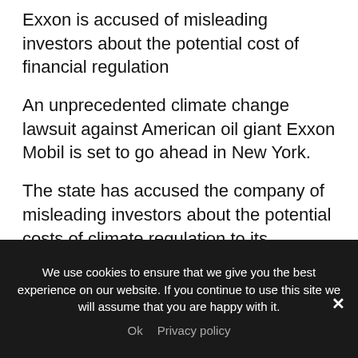Exxon is accused of misleading investors about the potential cost of financial regulation
An unprecedented climate change lawsuit against American oil giant Exxon Mobil is set to go ahead in New York.
The state has accused the company of misleading investors about the potential costs of climate regulation to its business.
Exxon says it shared the necessary information and the claims are politically motivated.
The case is at the forefront of a rising number of
We use cookies to ensure that we give you the best experience on our website. If you continue to use this site we will assume that you are happy with it.
Ok   Privacy policy